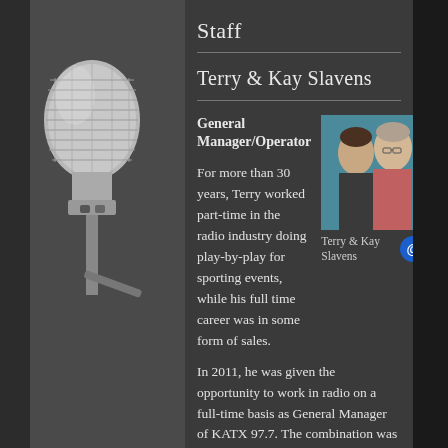[Figure (photo): Large close-up photograph of a studio microphone on the left side of the page]
Staff
Terry & Kay Slavens
General Manager/Operator
[Figure (photo): Photo of Terry and Kay Slavens, a couple, standing together in front of a teal curtain]
Terry & Kay Slavens
For more than 30 years, Terry worked part-time in the radio industry doing play-by-play for sporting events, while his full time career was in some form of sales. In 2011, he was given the opportunity to work in radio on a full-time basis as General Manager of KATX 97.7. The combination was a perfect fit, as it allowed Terry to do the two things he enjoys–sports